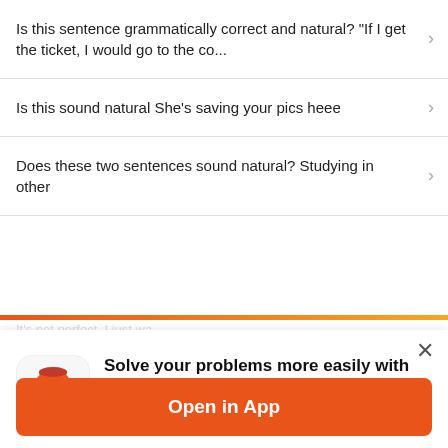Is this sentence grammatically correct and natural? "If I get the ticket, I would go to the co...
Is this sound natural She's saving your pics heee
Does these two sentences sound natural? Studying in other
[Figure (screenshot): App promotion modal overlay with mascot icon, star rating, bullet points, and orange Open in App button]
Solve your problems more easily with the app!
★★★★½ (free)
Find the answer you're looking for from 45 million answers logged!
Enjoy the auto-translate feature when searching for answers!
Open in App